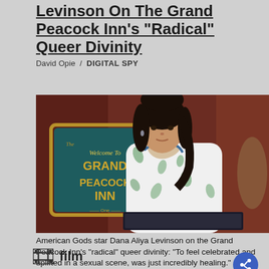Levinson On The Grand Peacock Inn's "Radical" Queer Divinity
David Opie  /  DIGITAL SPY
[Figure (photo): A woman with dark hair wearing a white and green patterned dress with a keyhole neckline stands in front of a teal sign reading 'Welcome To The Grand Peacock Inn'. The setting appears to be a hotel lobby with warm red/brown walls.]
American Gods star Dana Aliya Levinson on the Grand Peacock Inn's "radical" queer divinity: "To feel celebrated and uplifted in a sexual scene, was just incredibly healing."
film